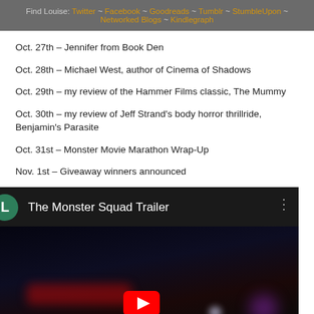Find Louise: Twitter ~ Facebook ~ Goodreads ~ Tumblr ~ StumbleUpon ~ Networked Blogs ~ Kindlegraph
Oct. 27th – Jennifer from Book Den
Oct. 28th – Michael West, author of Cinema of Shadows
Oct. 29th – my review of the Hammer Films classic, The Mummy
Oct. 30th – my review of Jeff Strand's body horror thrillride, Benjamin's Parasite
Oct. 31st – Monster Movie Marathon Wrap-Up
Nov. 1st – Giveaway winners announced
[Figure (screenshot): Embedded YouTube video player showing 'The Monster Squad Trailer' with a dark night-scene thumbnail, a teal avatar circle with 'L', and a red YouTube play button at the bottom center.]